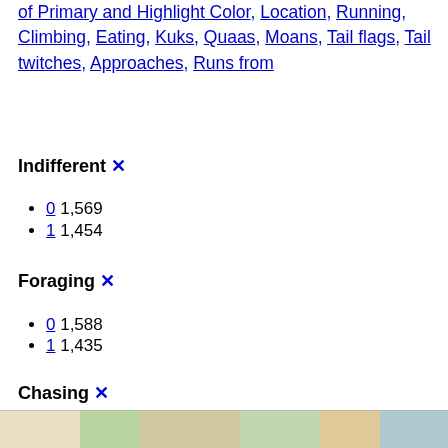of Primary and Highlight Color, Location, Running, Climbing, Eating, Kuks, Quaas, Moans, Tail flags, Tail twitches, Approaches, Runs from
Indifferent ✕
0 1,569
1 1,454
Foraging ✕
0 1,588
1 1,435
Chasing ✕
0 2,744
1 279
[Figure (map): Colorful map strip at the bottom of the page]